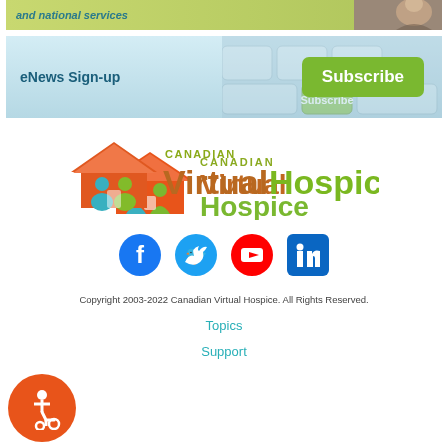[Figure (illustration): Top banner with italic teal text 'and national services' on olive-green background with a photo of a smiling person on the right]
[Figure (illustration): eNews Sign-up banner with light blue keyboard background, teal bold text 'eNews Sign-up' on left and green Subscribe button on right]
[Figure (logo): Canadian Virtual Hospice logo with house/people icon in orange-teal-green, text 'CANADIAN' in olive and 'VirtualHospice' in green and brown]
[Figure (illustration): Social media icons: Facebook (blue circle), Twitter (blue circle), YouTube (red circle), LinkedIn (blue square)]
Copyright 2003-2022 Canadian Virtual Hospice. All Rights Reserved.
Topics
Support
[Figure (illustration): Orange circular accessibility (wheelchair) button in lower left]